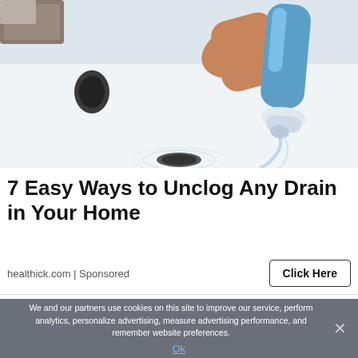[Figure (photo): A hand holding a blue bottle pouring liquid into a white sink drain, with faucet hardware visible in the upper left corner.]
7 Easy Ways to Unclog Any Drain in Your Home
healthick.com | Sponsored
Click Here
We and our partners use cookies on this site to improve our service, perform analytics, personalize advertising, measure advertising performance, and remember website preferences.
Ok